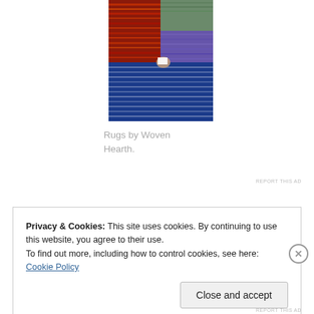[Figure (photo): Close-up photo of colorful woven rugs with blue, red, orange, and purple textile patterns. A hand is partially visible touching the fabric.]
Rugs by Woven Hearth.
REPORT THIS AD
Privacy & Cookies: This site uses cookies. By continuing to use this website, you agree to their use.
To find out more, including how to control cookies, see here: Cookie Policy
Close and accept
REPORT THIS AD